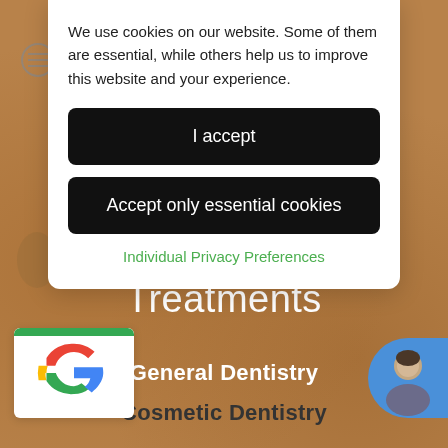[Figure (screenshot): Warm brown/tan textured background with a dental website showing 'Treatments' section with General Dentistry and Cosmetic Dentistry menu items, plus a Google review widget and an avatar chat bubble]
We use cookies on our website. Some of them are essential, while others help us to improve this website and your experience.
I accept
Accept only essential cookies
Individual Privacy Preferences
Treatments
General Dentistry
Cosmetic Dentistry